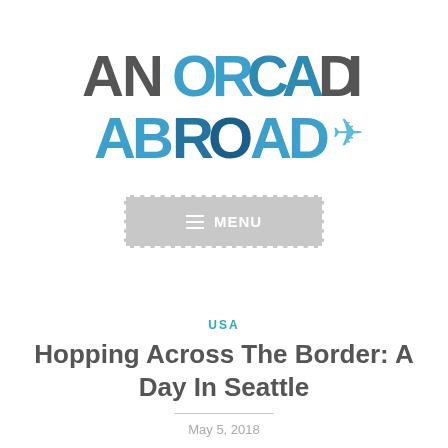[Figure (logo): An Orcadian Abroad logo with stylized blue and dark text and an airplane icon]
[Figure (screenshot): Menu navigation button with hamburger icon and MENU text on grey background]
USA
Hopping Across The Border: A Day In Seattle
May 5, 2018